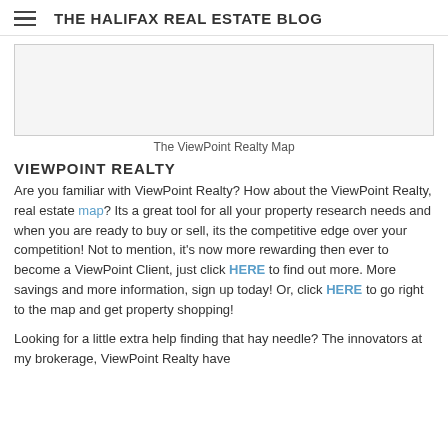THE HALIFAX REAL ESTATE BLOG
[Figure (other): Map image placeholder box for The ViewPoint Realty Map]
The ViewPoint Realty Map
VIEWPOINT REALTY
Are you familiar with ViewPoint Realty? How about the ViewPoint Realty, real estate map? Its a great tool for all your property research needs and when you are ready to buy or sell, its the competitive edge over your competition! Not to mention, it's now more rewarding then ever to become a ViewPoint Client, just click HERE to find out more. More savings and more information, sign up today! Or, click HERE to go right to the map and get property shopping!
Looking for a little extra help finding that hay needle? The innovators at my brokerage, ViewPoint Realty have